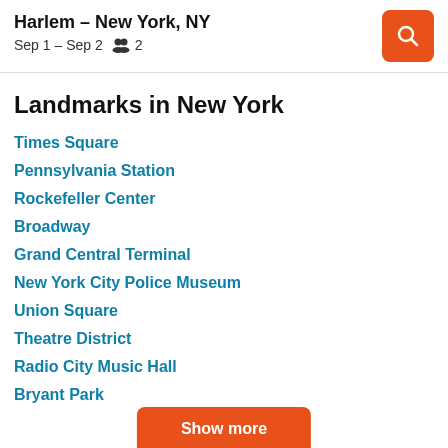Harlem – New York, NY
Sep 1 – Sep 2   👥 2
Landmarks in New York
Times Square
Pennsylvania Station
Rockefeller Center
Broadway
Grand Central Terminal
New York City Police Museum
Union Square
Theatre District
Radio City Music Hall
Bryant Park
Show more